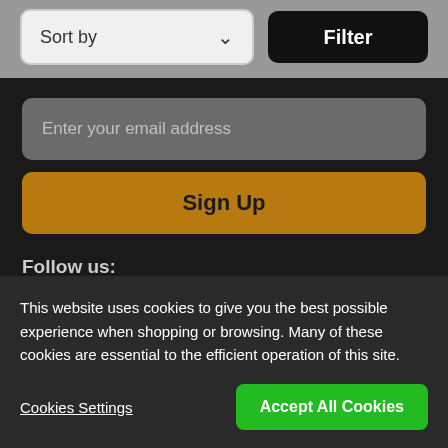[Figure (screenshot): Sort by dropdown and Filter button in a grey toolbar]
Enter your email address
Sign Up
Follow us:
[Figure (infographic): Social media icons: Instagram, Facebook, Twitter, YouTube, and another platform]
This website uses cookies to give you the best possible experience when shopping or browsing. Many of these cookies are essential to the efficient operation of this site.
Cookies Settings
Accept All Cookies